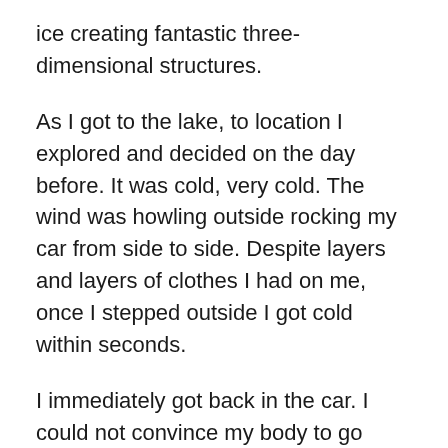ice creating fantastic three-dimensional structures.
As I got to the lake, to location I explored and decided on the day before. It was cold, very cold. The wind was howling outside rocking my car from side to side. Despite layers and layers of clothes I had on me, once I stepped outside I got cold within seconds.
I immediately got back in the car. I could not convince my body to go outside again. No matter how beautiful sunrise was going to be I could hike to the lake and back in such